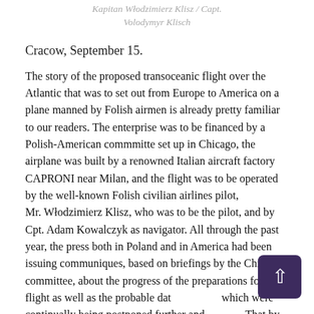Kapitan Włodzimierz Klisz / Capt. Volodymyr Klisch
Cracow, September 15.
The story of the proposed transoceanic flight over the Atlantic that was to set out from Europe to America on a plane manned by Folish airmen is already pretty familiar to our readers. The enterprise was to be financed by a Polish-American commmitte set up in Chicago, the airplane was built by a renowned Italian aircraft factory CAPRONI near Milan, and the flight was to be operated by the well-known Folish civilian airlines pilot, Mr. Włodzimierz Klisz, who was to be the pilot, and by Cpt. Adam Kowalczyk as navigator. All through the past year, the press both in Poland and in America had been issuing communiques, based on briefings by the Chicago committee, about the progress of the preparations for the flight as well as the probable date which were continually being postponed further and further. That by itself could be quite understandable, seeing they had